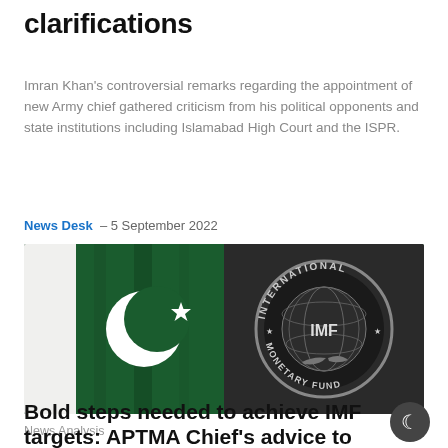clarifications
Imran Khan's controversial remarks regarding the appointment of new Army chief gathered criticism from his political opponents and state institutions including Islamabad High Court and the ISPR.
News Desk  - 5 September 2022
[Figure (photo): Split image showing Pakistan's green and white national flag on the left and the International Monetary Fund (IMF) circular logo on the right against a dark background.]
News Analysis
Bold steps needed to achieve IMF targets: APTMA Chief's advice to